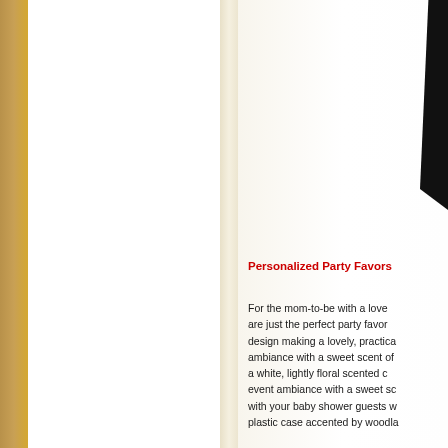[Figure (photo): Partial image visible at top right corner of right page, appears to be a dark object against light background]
Personalized Party Favors
For the mom-to-be with a love are just the perfect party favor design making a lovely, practica ambiance with a sweet scent of a white, lightly floral scented c event ambiance with a sweet sc with your baby shower guests w plastic case accented by woodla